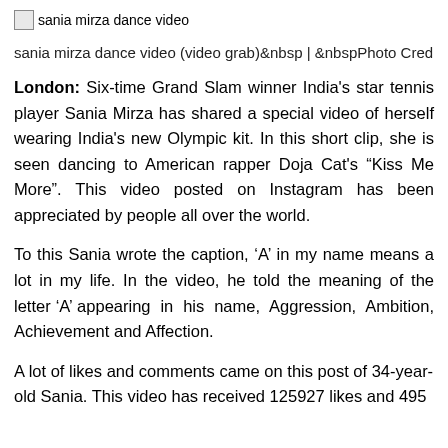[Figure (photo): Broken image icon with alt text 'sania mirza dance video']
sania mirza dance video (video grab)&nbsp | &nbspPhoto Cred
London: Six-time Grand Slam winner India's star tennis player Sania Mirza has shared a special video of herself wearing India's new Olympic kit. In this short clip, she is seen dancing to American rapper Doja Cat's “Kiss Me More”. This video posted on Instagram has been appreciated by people all over the world.
To this Sania wrote the caption, ‘A’ in my name means a lot in my life. In the video, he told the meaning of the letter ‘A’ appearing in his name, Aggression, Ambition, Achievement and Affection.
A lot of likes and comments came on this post of 34-year-old Sania. This video has received 125927 likes and 495